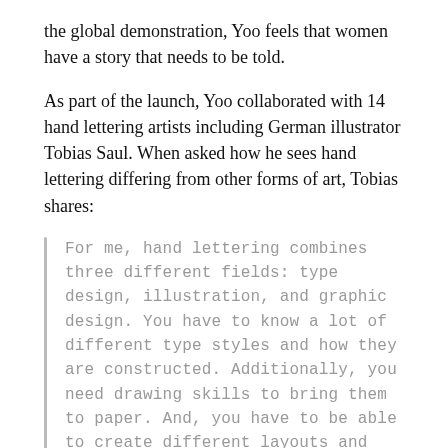the global demonstration, Yoo feels that women have a story that needs to be told.
As part of the launch, Yoo collaborated with 14 hand lettering artists including German illustrator Tobias Saul. When asked how he sees hand lettering differing from other forms of art, Tobias shares:
For me, hand lettering combines three different fields: type design, illustration, and graphic design. You have to know a lot of different type styles and how they are constructed. Additionally, you need drawing skills to bring them to paper. And, you have to be able to create different layouts and work with colors. This symbiosis of different graphic fields makes hand lettering so fascinating to me.
Tobias produced this quick timelapse video of his creation process, from start to finish. You can buy his artwork, in the form of t-shirts or art prints at Skylar Yoo